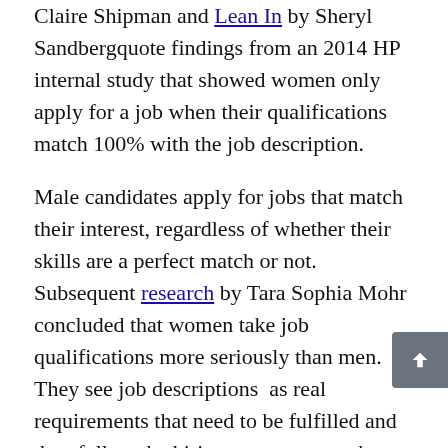Claire Shipman and Lean In by Sheryl Sandbergquote findings from an 2014 HP internal study that showed women only apply for a job when their qualifications match 100% with the job description.
Male candidates apply for jobs that match their interest, regardless of whether their skills are a perfect match or not. Subsequent research by Tara Sophia Mohr concluded that women take job qualifications more seriously than men. They see job descriptions  as real requirements that need to be fulfilled and they follow the hiring process more  by-the-book. That is why the Girls Who Code classes not only teach girls coding, but also how to be brave and go for opportunities.
Saujani's story is a reminder that decisions are often made based on what feels right for us.